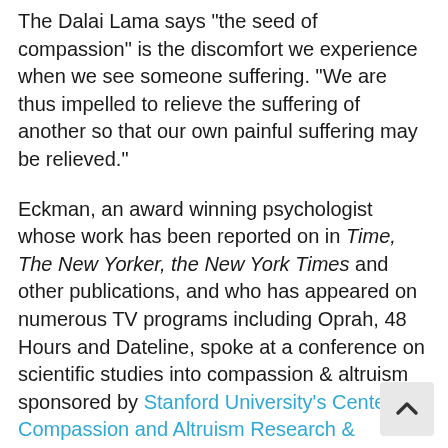The Dalai Lama says "the seed of compassion" is the discomfort we experience when we see someone suffering. "We are thus impelled to relieve the suffering of another so that our own painful suffering may be relieved."
Eckman, an award winning psychologist whose work has been reported on in Time, The New Yorker, the New York Times and other publications, and who has appeared on numerous TV programs including Oprah, 48 Hours and Dateline, spoke at a conference on scientific studies into compassion & altruism sponsored by Stanford University's Center for Compassion and Altruism Research & Education (CCare). Compassion Action Network International was a co-sponsor of the event, held in Telluride, CO.
Eckman, who has had six hours of one-on-one conversations with the Dalia Lama, says Darwin went even further. Sympathy, Darwin wrote, should extended beyond “the confines of man, to the lower animals” and “seems to arise incidentally from our sympathies becoming more tender and